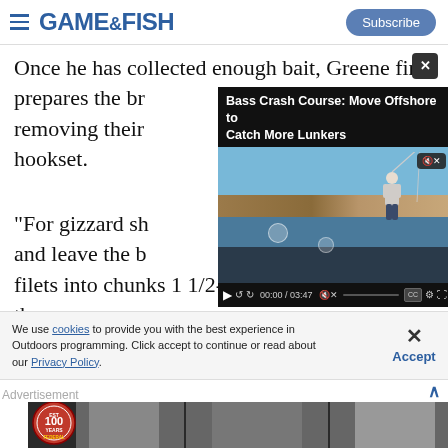GAME & FISH — Subscribe
Once he has collected enough bait, Greene first prepares the br... removing their ... hookset.
[Figure (screenshot): Embedded video player showing 'Bass Crash Course: Move Offshore to Catch More Lunkers' with a person fishing from a boat on a lake. Video time shows 00:00 / 03:47. Controls visible including play, rewind, forward, mute, CC, settings, and fullscreen buttons.]
"For gizzard sh... and leave the b... filets into chunks 1 1/2-inch square. If you cut them
We use cookies to provide you with the best experience in Outdoors programming. Click accept to continue or read about our Privacy Policy.
[Figure (photo): Advertisement banner showing Federal 100 year anniversary badge and black and white photos of people in a dark background.]